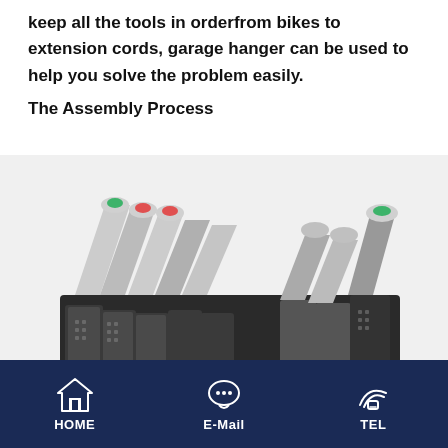keep all the tools in order—from bikes to extension cords, garage hanger can be used to help you solve the problem easily.
The Assembly Process
[Figure (photo): A collection of pliers and hand tools with black and grey handles featuring square grip patterns and colored tips (green, red, green), arranged in a metal holder/organizer.]
HOME   E-Mail   TEL